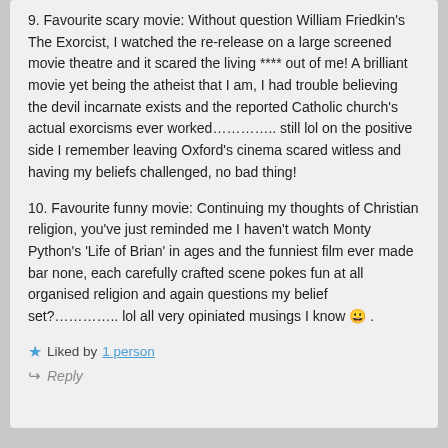9. Favourite scary movie: Without question William Friedkin's The Exorcist, I watched the re-release on a large screened movie theatre and it scared the living **** out of me! A brilliant movie yet being the atheist that I am, I had trouble believing the devil incarnate exists and the reported Catholic church's actual exorcisms ever worked.............. still lol on the positive side I remember leaving Oxford's cinema scared witless and having my beliefs challenged, no bad thing!
10. Favourite funny movie: Continuing my thoughts of Christian religion, you've just reminded me I haven't watch Monty Python's 'Life of Brian' in ages and the funniest film ever made bar none, each carefully crafted scene pokes fun at all organised religion and again questions my belief set?.............. lol all very opiniated musings I know 😀 .
Liked by 1 person
Reply